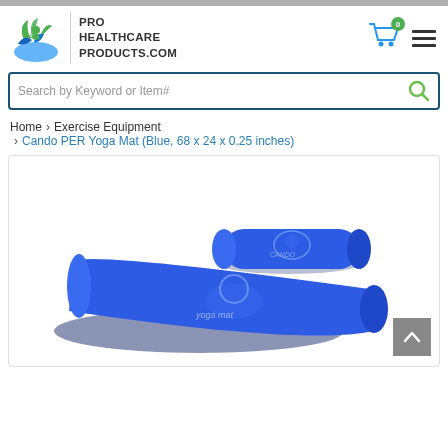[Figure (logo): Pro Healthcare Products.com logo with green and blue leaf/person icon]
[Figure (screenshot): Search bar with text 'Search by Keyword or Item#' and green search icon]
Home › Exercise Equipment
› Cando PER Yoga Mat (Blue, 68 x 24 x 0.25 inches)
[Figure (photo): Blue Cando PER yoga mat shown partially rolled and unrolled with brand logo on it]